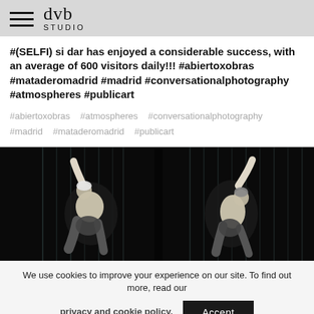dvb STUDIO
#(SELFI) si dar has enjoyed a considerable success, with an average of 600 visitors daily!!! #abiertoxobras #mataderomadrid #madrid #conversationalphotography #atmospheres #publicart
#abiertoxobras   #atmospheres   #conversationalphotography
#madrid   #mataderomadrid   #publicart
[Figure (photo): Two dancers performing in a dark stage setting with vertical light elements in the background. Left dancer has white/light hair and is in a dynamic pose; right dancer is bending backward with arm raised.]
We use cookies to improve your experience on our site. To find out more, read our privacy and cookie policy.  Accept